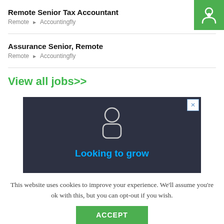Remote Senior Tax Accountant
Remote ▸ Accountingfly
Assurance Senior, Remote
Remote ▸ Accountingfly
View all jobs>>
[Figure (screenshot): Dark advertisement banner with a person icon silhouette and text 'Looking to grow' in blue on dark background, with a close X button in top right corner.]
This website uses cookies to improve your experience. We'll assume you're ok with this, but you can opt-out if you wish.
ACCEPT